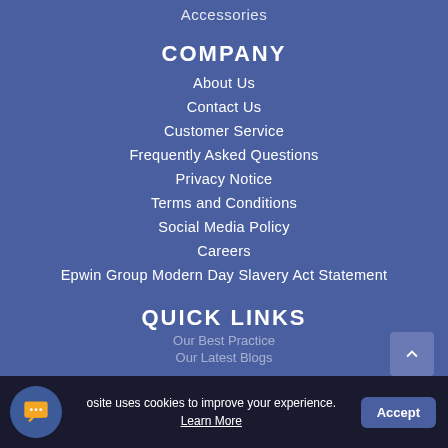Accessories
COMPANY
About Us
Contact Us
Customer Service
Frequently Asked Questions
Privacy Notice
Terms and Conditions
Social Media Policy
Careers
Epwin Group Modern Day Slavery Act Statement
QUICK LINKS
osite uses cookies to improve your experience. Learn More
Accept